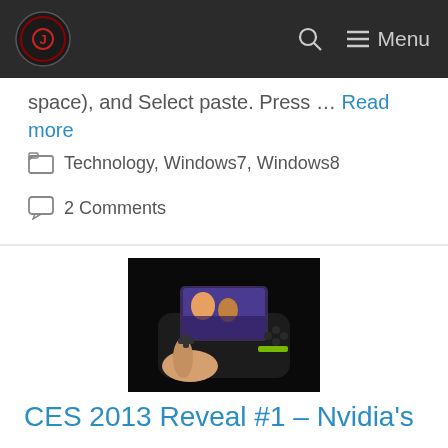Menu
space), and Select paste. Press … Read more
Technology, Windows7, Windows8
2 Comments
[Figure (photo): Hand holding an Nvidia Shield portable gaming device with a screen showing a game, against a dark background]
CES 2013 Reveal #1 – Nvidia's